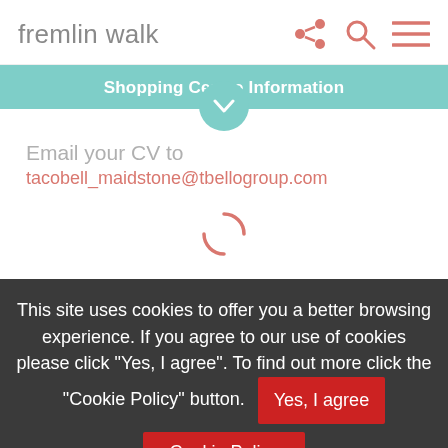fremlin walk
Shopping Centre Information
Email your CV to
tacobell_maidstone@tbellogroup.com
This site uses cookies to offer you a better browsing experience. If you agree to our use of cookies please click "Yes, I agree". To find out more click the "Cookie Policy" button.
Yes, I agree
Cookie Policy